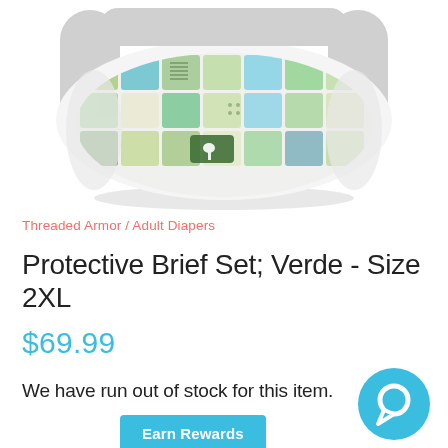[Figure (photo): Product photo of a cloth diaper/protective brief in verde (green/teal patchwork pattern) with gray elastic waistband, shown from the front against a white background with a subtle shadow beneath.]
Threaded Armor / Adult Diapers
Protective Brief Set; Verde - Size 2XL
$69.99
We have run out of stock for this item.
Earn Rewards